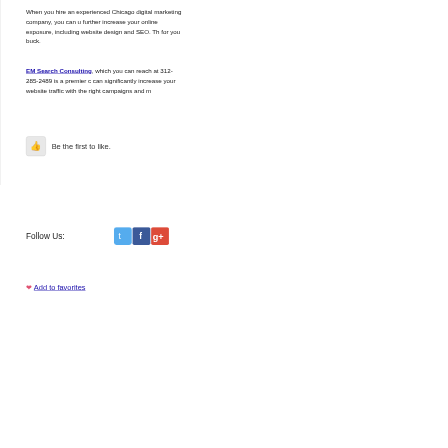When you hire an experienced Chicago digital marketing company, you can u further increase your online exposure, including website design and SEO. Th for you buck.
EM Search Consulting, which you can reach at 312-285-2489 is a premier c can significantly increase your website traffic with the right campaigns and m
Be the first to like.
Follow Us:
Add to favorites